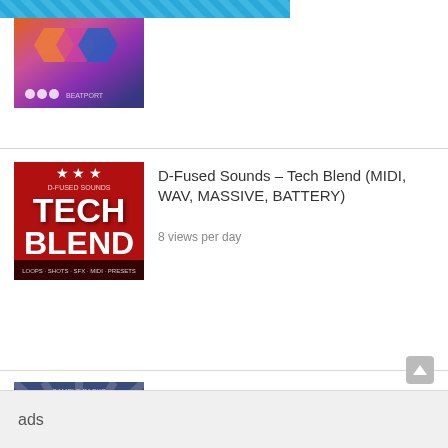[Figure (screenshot): Top banner with diagonal blue striped pattern, partially visible]
[Figure (photo): D-Fused Sounds Tech Blend product thumbnail - red background with white bold text 'TECH BLEND' and stars]
D-Fused Sounds – Tech Blend (MIDI, WAV, MASSIVE, BATTERY)
8 views per day
[Figure (photo): Rankin Audio Ultimate Dubstep 3 product thumbnail - dark blue/purple background with starburst rays and logo]
Rankin Audio – Ultimate Dubstep 3 (WAV, MASSIVE)
7 views per day
ads